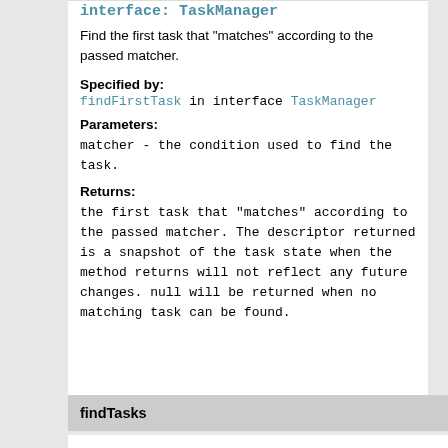interface: TaskManager
Find the first task that "matches" according to the passed matcher.
Specified by:
findFirstTask in interface TaskManager
Parameters:
matcher - the condition used to find the task.
Returns:
the first task that "matches" according to the passed matcher. The descriptor returned is a snapshot of the task state when the method returns will not reflect any future changes. null will be returned when no matching task can be found.
findTasks
public Collection<TaskDescriptor<?>> findTasks(@M Ta